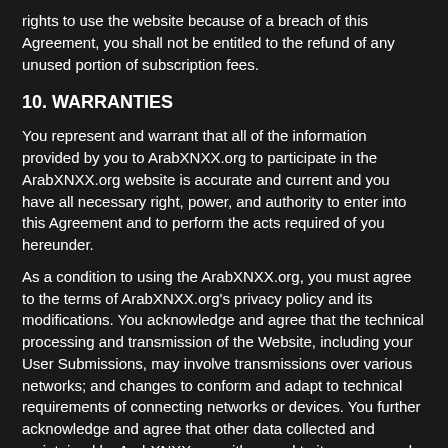rights to use the website because of a breach of this Agreement, you shall not be entitled to the refund of any unused portion of subscription fees.
10. WARRANTIES
You represent and warrant that all of the information provided by you to ArabXNXX.org to participate in the ArabXNXX.org website is accurate and current and you have all necessary right, power, and authority to enter into this Agreement and to perform the acts required of you hereunder.
As a condition to using the ArabXNXX.org, you must agree to the terms of ArabXNXX.org's privacy policy and its modifications. You acknowledge and agree that the technical processing and transmission of the Website, including your User Submissions, may involve transmissions over various networks; and changes to conform and adapt to technical requirements of connecting networks or devices. You further acknowledge and agree that other data collected and maintained by ArabXNXX.org with regard to its users may be disclosed in accordance with the ArabXNXX.org Privacy Policy.
11. WARRANTY DISCLAIMER